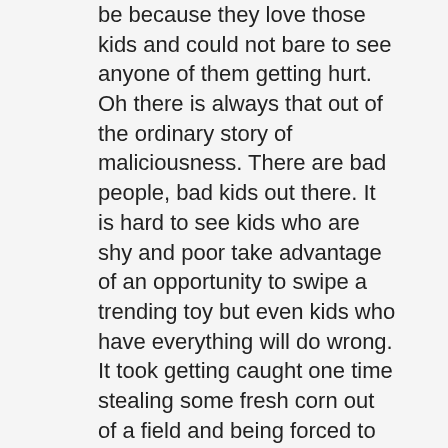be because they love those kids and could not bare to see anyone of them getting hurt. Oh there is always that out of the ordinary story of maliciousness. There are bad people, bad kids out there. It is hard to see kids who are shy and poor take advantage of an opportunity to swipe a trending toy but even kids who have everything will do wrong. It took getting caught one time stealing some fresh corn out of a field and being forced to show up at the local police department with my Mom to teach me that taking something that did not belong to me was not right. I was 11 years old. Thank God it only took just once for me. But watching a kid stealing a few ears of corn compared to seeing a someone losing blood from an injury or shivering from the cold is a very different trauma. Very few people will just walk away from that scene. And they don't. There are those who run to the danger not away from it.
But to that point, the needs are great and the people who are hurting are not always in plain sight nor do they want to be known. We have